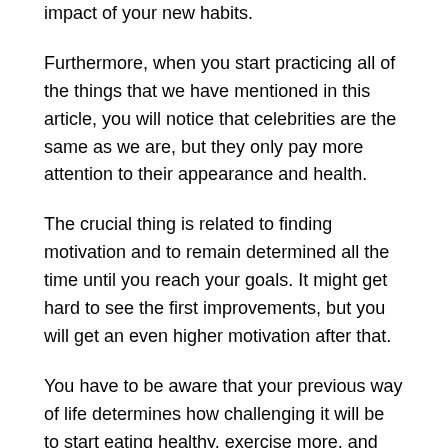impact of your new habits.
Furthermore, when you start practicing all of the things that we have mentioned in this article, you will notice that celebrities are the same as we are, but they only pay more attention to their appearance and health.
The crucial thing is related to finding motivation and to remain determined all the time until you reach your goals. It might get hard to see the first improvements, but you will get an even higher motivation after that.
You have to be aware that your previous way of life determines how challenging it will be to start eating healthy, exercise more, and pay attention to your health and appearance. Therefore, having a celebrity as a role model is always a good idea.